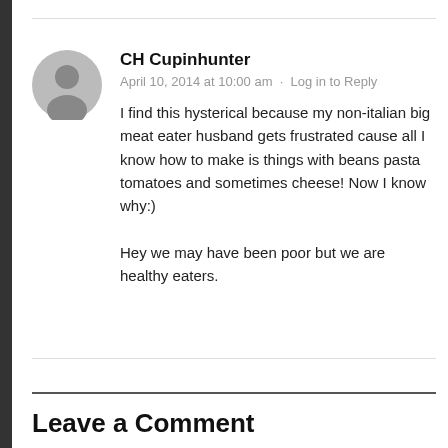CH Cupinhunter
April 10, 2014 at 10:00 am · Log in to Reply
I find this hysterical because my non-italian big meat eater husband gets frustrated cause all I know how to make is things with beans pasta tomatoes and sometimes cheese! Now I know why:)

Hey we may have been poor but we are healthy eaters.
Leave a Comment